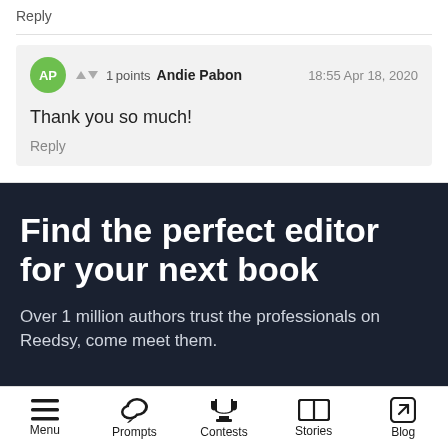Reply
AP ▲ ▼ 1points Andie Pabon 18:55 Apr 18, 2020
Thank you so much!
Reply
Find the perfect editor for your next book
Over 1 million authors trust the professionals on Reedsy, come meet them.
Menu  Prompts  Contests  Stories  Blog